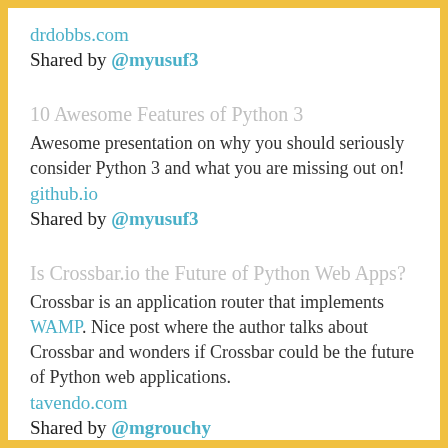drdobbs.com
Shared by @myusuf3
10 Awesome Features of Python 3
Awesome presentation on why you should seriously consider Python 3 and what you are missing out on!
github.io
Shared by @myusuf3
Is Crossbar.io the Future of Python Web Apps?
Crossbar is an application router that implements WAMP. Nice post where the author talks about Crossbar and wonders if Crossbar could be the future of Python web applications.
tavendo.com
Shared by @mgrouchy